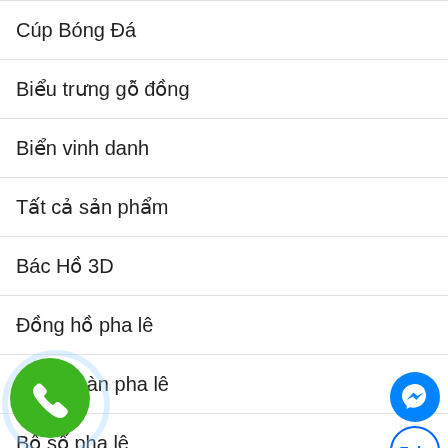Cúp Bóng Đá
Biểu trưng gỗ đồng
Biển vinh danh
Tất cả sản phẩm
Bác Hồ 3D
Đồng hồ pha lê
Bộ để bàn pha lê
Bộ số pha lê
Lọ hoa pha lê
Pha lê 3D
phong thủy